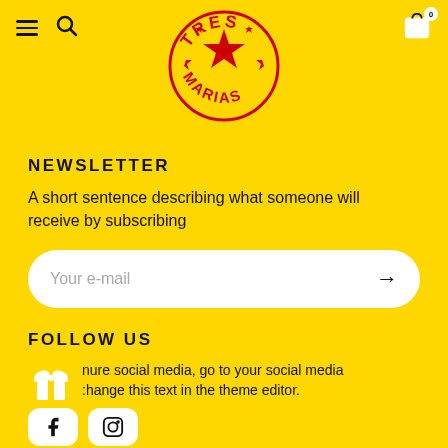[Figure (logo): Tres Marias circular logo with red text and red star on yellow background]
NEWSLETTER
A short sentence describing what someone will receive by subscribing
[Figure (other): Email input field with placeholder 'Your e-mail' and arrow submit button on white rounded rectangle]
FOLLOW US
To configure social media, go to your social media change this text in the theme editor.
[Figure (infographic): Gift icon and social media buttons for Facebook and Instagram]